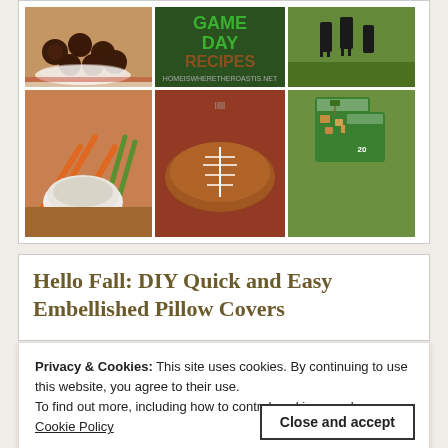[Figure (photo): Food collage image showing game day recipes including meatballs, sandwiches shaped like footballs, snack cups, dip with vegetables, tacos/sliders, and Chex mix in green cups. Text overlay reads 'GAME DAY RECIPES' and 'homeiswheretheroastis.net']
Hello Fall: DIY Quick and Easy Embellished Pillow Covers
Privacy & Cookies: This site uses cookies. By continuing to use this website, you agree to their use.
To find out more, including how to control cookies, see here:
Cookie Policy